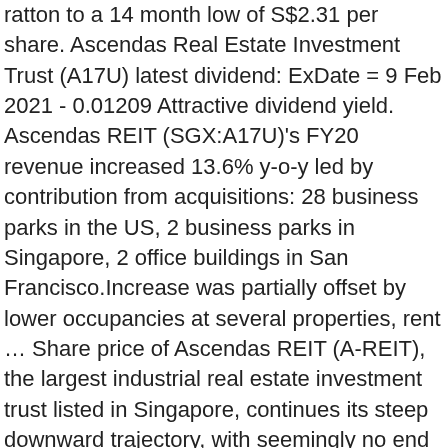ratton to a 14 month low of S$2.31 per share. Ascendas Real Estate Investment Trust (A17U) latest dividend: ExDate = 9 Feb 2021 - 0.01209 Attractive dividend yield. Ascendas REIT (SGX:A17U)'s FY20 revenue increased 13.6% y-o-y led by contribution from acquisitions: 28 business parks in the US, 2 business parks in Singapore, 2 office buildings in San Francisco.Increase was partially offset by lower occupancies at several properties, rent … Share price of Ascendas REIT (A-REIT), the largest industrial real estate investment trust listed in Singapore, continues its steep downward trajectory, with seemingly no end in sight at present. These are Willie Keng and his team's personal views and are meant to be taken as educational and informational only. Starhill Reit 90,000 S$0.52 46,800.00 14.0% Dividend 4. If a stock is valued near, or slightly below the market average, research has shown that the market expects the stock's dividend to increase. Based on the expected Pro-forma DPU of 14.877 S$ cents, Ascendas REIT now carries an attractive 4.83% yield based on its last closing price of $3.08/share. Additional Text: Please refer to the attachment for details. … Ascendas Real Estate